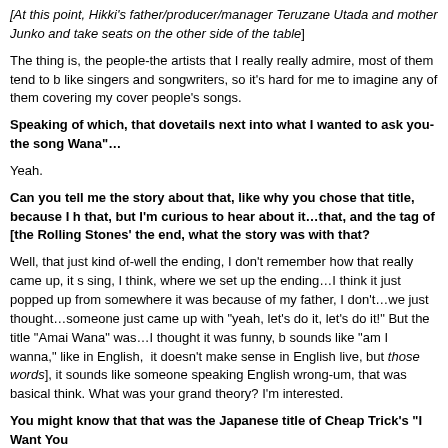[At this point, Hikki's father/producer/manager Teruzane Utada and mother Junko and take seats on the other side of the table]
The thing is, the people-the artists that I really really admire, most of them tend to be like singers and songwriters, so it's hard for me to imagine any of them covering my cover people's songs.
Speaking of which, that dovetails next into what I wanted to ask you-the song "Amai Wana"…
Yeah.
Can you tell me the story about that, like why you chose that title, because I have that, but I'm curious to hear about it…that, and the tag of [the Rolling Stones' the end, what the story was with that?
Well, that just kind of-well the ending, I don't remember how that really came up, it sing, I think, where we set up the ending…I think it just popped up from somewhere it was because of my father, I don't…we just thought…someone just came up with "yeah, let's do it, let's do it!" But the title "Amai Wana" was…I thought it was funny, b sounds like "am I wanna," like in English, it doesn't make sense in English live, but those words], it sounds like someone speaking English wrong-um, that was basically think. What was your grand theory? I'm interested.
You might know that that was the Japanese title of Cheap Trick's "I Want You
Ohhh…
That's what it's called in Japan.
I didn't know that!